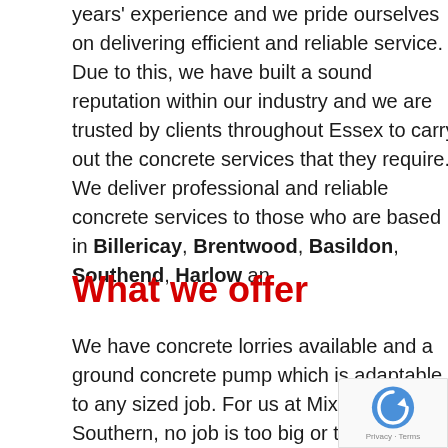years' experience and we pride ourselves on delivering efficient and reliable service. Due to this, we have built a sound reputation within our industry and we are trusted by clients throughout Essex to carry out the concrete services that they require. We deliver professional and reliable concrete services to those who are based in Billericay, Brentwood, Basildon, Southend, Harlow an
What we offer
We have concrete lorries available and a ground concrete pump which is adaptable to any sized job. For us at Mix-N-Lay Southern, no job is too big or too small. Please feel free to contact us with any enquiries that you may have about our services